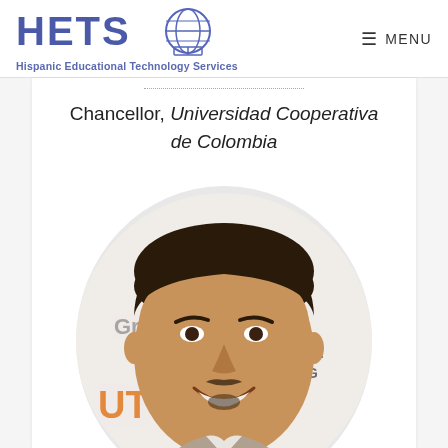HETS Hispanic Educational Technology Services — MENU
Chancellor, Universidad Cooperativa de Colombia
[Figure (photo): Headshot of a man smiling in front of a backdrop with logos including UT, The University of Texas at Rio Grande Valley]